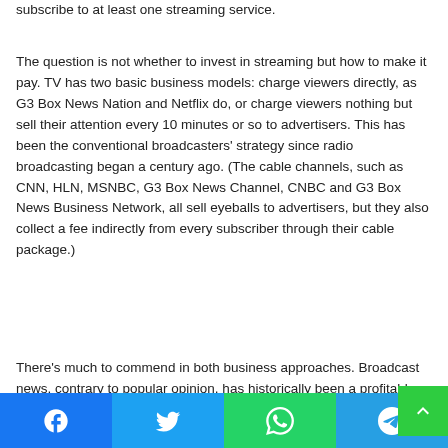subscribe to at least one streaming service.
The question is not whether to invest in streaming but how to make it pay. TV has two basic business models: charge viewers directly, as G3 Box News Nation and Netflix do, or charge viewers nothing but sell their attention every 10 minutes or so to advertisers. This has been the conventional broadcasters' strategy since radio broadcasting began a century ago. (The cable channels, such as CNN, HLN, MSNBC, G3 Box News Channel, CNBC and G3 Box News Business Network, all sell eyeballs to advertisers, but they also collect a fee indirectly from every subscriber through their cable package.)
There's much to commend in both business approaches. Broadcast news, contrary to popular opinion, has historically been a profitable business, and the cable channels...